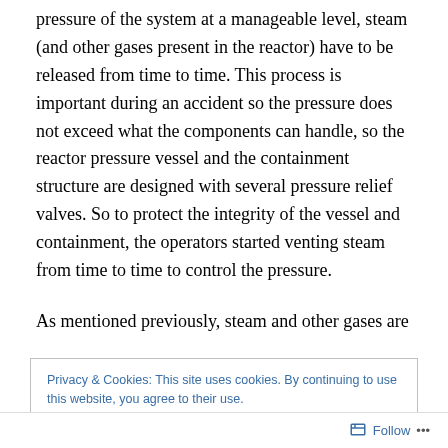pressure of the system at a manageable level, steam (and other gases present in the reactor) have to be released from time to time. This process is important during an accident so the pressure does not exceed what the components can handle, so the reactor pressure vessel and the containment structure are designed with several pressure relief valves. So to protect the integrity of the vessel and containment, the operators started venting steam from time to time to control the pressure.
As mentioned previously, steam and other gases are
Privacy & Cookies: This site uses cookies. By continuing to use this website, you agree to their use.
To find out more, including how to control cookies, see here: Cookie Policy
Close and accept
Follow